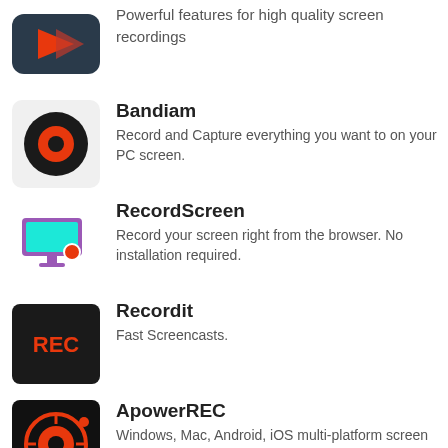[Figure (illustration): App icon: dark blue/teal background with a red arrow/chevron shape]
Powerful features for high quality screen recordings
[Figure (illustration): App icon: white/light background with a black circle and red record button dot — Bandiam]
Bandiam
Record and Capture everything you want to on your PC screen.
[Figure (illustration): App icon: purple monitor with a red record dot — RecordScreen]
RecordScreen
Record your screen right from the browser. No installation required.
[Figure (illustration): App icon: black background with REC label — Recordit]
Recordit
Fast Screencasts.
[Figure (illustration): App icon: black background with red circular target and record symbol — ApowerREC]
ApowerREC
Windows, Mac, Android, iOS multi-platform screen recording tool
[Figure (illustration): App icon: blue background with a dark play triangle — OverSpeed]
OverSpeed
Super lossless screen recording software.
[Figure (illustration): App icon: light blue monitor outline with a red dot — Free Cam]
Free Cam
Easily create screencasts, edit recorded videos, and upload to YouTube. No watermark or time limits.
[Figure (illustration): App icon: red and orange square tiles — DVD Screen Video Recorder]
DVD Screen Video Recorder